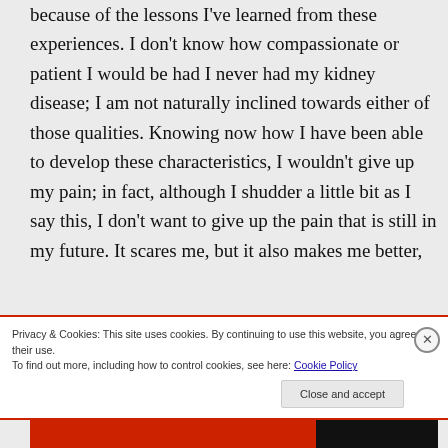because of the lessons I've learned from these experiences. I don't know how compassionate or patient I would be had I never had my kidney disease; I am not naturally inclined towards either of those qualities. Knowing now how I have been able to develop these characteristics, I wouldn't give up my pain; in fact, although I shudder a little bit as I say this, I don't want to give up the pain that is still in my future. It scares me, but it also makes me better,
Privacy & Cookies: This site uses cookies. By continuing to use this website, you agree to their use.
To find out more, including how to control cookies, see here: Cookie Policy